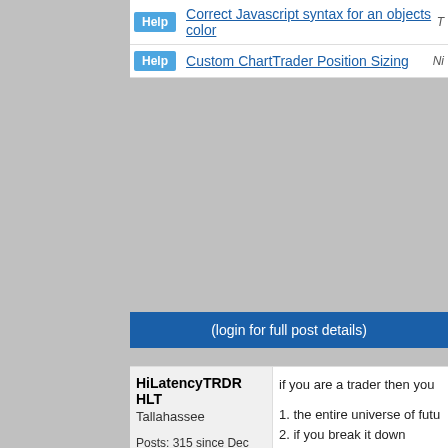Help  Correct Javascript syntax for an objects color  T
Help  Custom ChartTrader Position Sizing  Ni
(login for full post details)
HiLatencyTRDR HLT
Tallahassee
Posts: 315 since Dec 2018
Thanks: 13 given, 80 received
if you are a trader then you

1. the entire universe of futu
2. if you break it down

2A. winners= have their ow
2b. Losers = have their own

assuming we believe in a st
you need to be a winner wh
and or say you are making t

the goal is to make money o
now competing with winners

sure it is easy to make a litt
here is that it is not just a ch
need to then distribute yours

3 there is large set of somet
they win and sometimes th